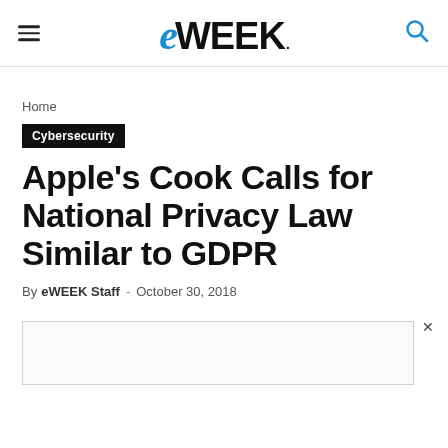eWEEK
Home
Cybersecurity
Apple's Cook Calls for National Privacy Law Similar to GDPR
By eWEEK Staff - October 30, 2018
[Figure (other): Advertisement placeholder with close (x) button]